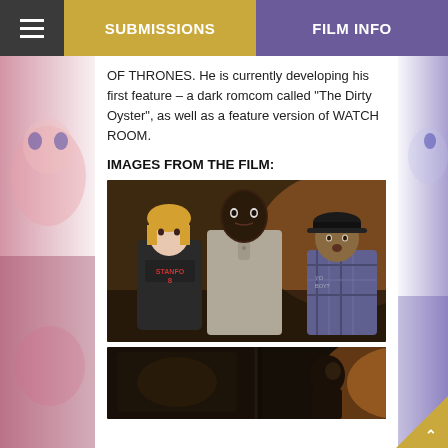SUBMISSIONS | FILM INFO
OF THRONES. He is currently developing his first feature – a dark romcom called “The Dirty Oyster”, as well as a feature version of WATCH ROOM.
IMAGES FROM THE FILM:
[Figure (photo): Film still showing three actors in an indoor scene – a woman in a Stanford hoodie, a tall Black man in a grey henley shirt, and a man in a plaid shirt behind them, all with alarmed expressions.]
[Figure (photo): Film still showing a dimly lit indoor scene with a figure visible in warm light on the right side.]